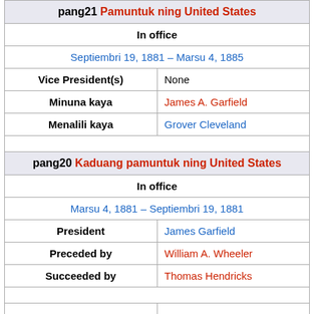| pang21 Pamuntuk ning United States |  |
| In office |  |
| Septiembri 19, 1881 – Marsu 4, 1885 |  |
| Vice President(s) | None |
| Minuna kaya | James A. Garfield |
| Menalili kaya | Grover Cleveland |
|  |  |
| pang20 Kaduang pamuntuk ning United States |  |
| In office |  |
| Marsu 4, 1881 – Septiembri 19, 1881 |  |
| President | James Garfield |
| Preceded by | William A. Wheeler |
| Succeeded by | Thomas Hendricks |
|  |  |
|  |  |